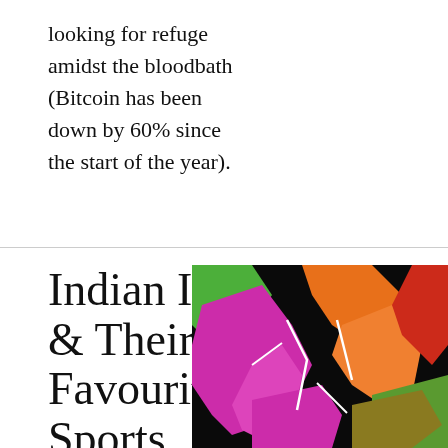looking for refuge amidst the bloodbath (Bitcoin has been down by 60% since the start of the year).
Indian IT & Their Favourite Sports
[Figure (illustration): Colorful silhouette illustration of athletes/figures in motion against a black background, featuring magenta/pink, orange, green, and red shapes]